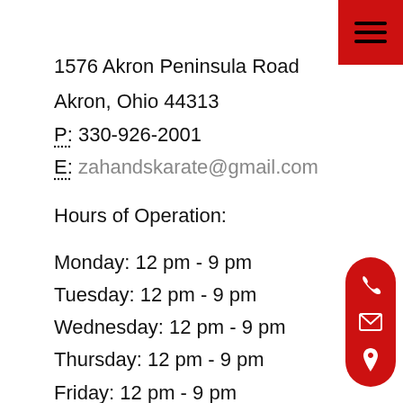1576 Akron Peninsula Road
Akron, Ohio 44313
P: 330-926-2001
E: zahandskarate@gmail.com
Hours of Operation:
Monday: 12 pm - 9 pm
Tuesday: 12 pm - 9 pm
Wednesday: 12 pm - 9 pm
Thursday: 12 pm - 9 pm
Friday: 12 pm - 9 pm
Saturday: 9 am - 3 pm
Sunday: 9 am - 12:30 pm